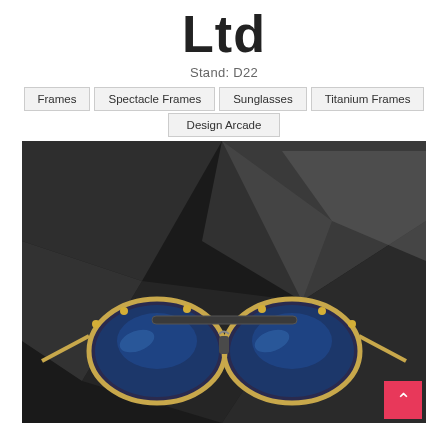Ltd
Stand: D22
Frames
Spectacle Frames
Sunglasses
Titanium Frames
Design Arcade
[Figure (photo): Product photo of designer sunglasses with blue lenses and gold/bronze frame against a dark geometric abstract background. A pink/red back-to-top arrow button appears in the bottom right corner.]